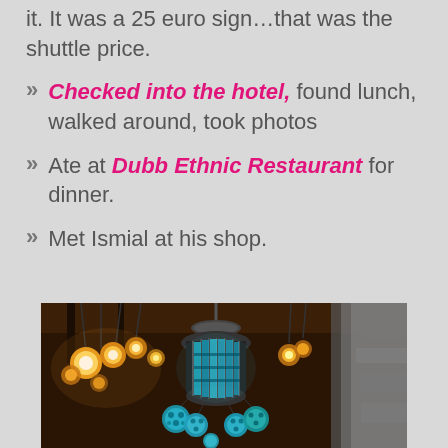it.  It was a 25 euro sign…that was the shuttle price.
Checked into the hotel, found lunch, walked around, took photos
Ate at Dubb Ethnic Restaurant for dinner.
Met Ismial at his shop.
[Figure (photo): Turkish ornamental hanging lanterns and lights in a shop, featuring colorful mosaic glass globe lamps in teal/turquoise and warm incandescent bulbs, hanging from a wooden ceiling in a market stall.]